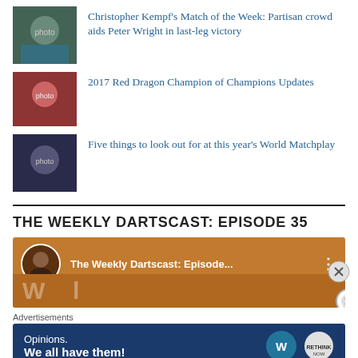Christopher Kempf's Match of the Week: Partisan crowd aids Peter Wright in last-leg victory
2017 Red Dragon Champion of Champions Updates
Five things to look out for at this year's World Matchplay
THE WEEKLY DARTSCAST: EPISODE 35
[Figure (screenshot): YouTube embed thumbnail showing The Weekly Dartscast: Episode... with orange background and avatar]
Advertisements
[Figure (screenshot): WordPress advertisement: Opinions. We all have them! with WordPress and Rethink logos on dark blue background]